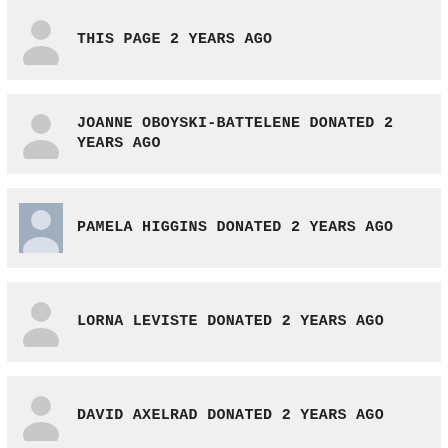THIS PAGE 2 YEARS AGO
JOANNE OBOYSKI-BATTELENE DONATED 2 YEARS AGO
PAMELA HIGGINS DONATED 2 YEARS AGO
LORNA LEVISTE DONATED 2 YEARS AGO
DAVID AXELRAD DONATED 2 YEARS AGO